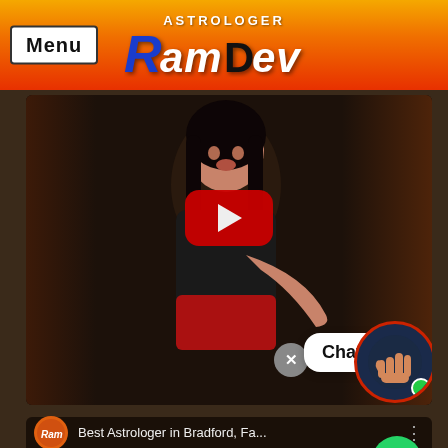Menu | ASTROLOGER RamDev
[Figure (screenshot): YouTube video thumbnail showing a young woman in black outfit speaking, with a red YouTube play button overlay, a 'Chat now' chat bubble overlay, a close (X) button, and a palmistry hand icon on the right edge.]
[Figure (screenshot): Second YouTube video strip showing 'Best Astrologer in Bradford, Fa...' with RamDev logo icon and three-dot menu, with a WhatsApp button on the right.]